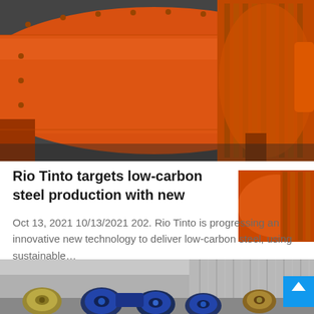[Figure (photo): Large orange industrial ball mill or rotary drum machinery with gear assembly, photographed in a workshop or industrial facility]
Rio Tinto targets low-carbon steel production with new
Oct 13, 2021 10/13/2021 202. Rio Tinto is progressing an innovative new technology to deliver low-carbon steel, using sustainable...
[Figure (photo): Industrial facility interior showing large blue/dark cable reels or drum machinery on warehouse floor with corrugated metal walls in background]